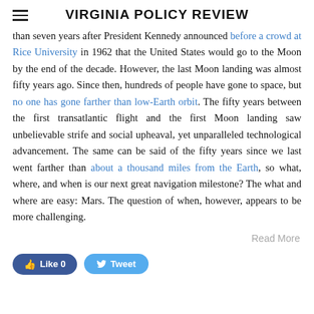VIRGINIA POLICY REVIEW
than seven years after President Kennedy announced before a crowd at Rice University in 1962 that the United States would go to the Moon by the end of the decade. However, the last Moon landing was almost fifty years ago. Since then, hundreds of people have gone to space, but no one has gone farther than low-Earth orbit. The fifty years between the first transatlantic flight and the first Moon landing saw unbelievable strife and social upheaval, yet unparalleled technological advancement. The same can be said of the fifty years since we last went farther than about a thousand miles from the Earth, so what, where, and when is our next great navigation milestone? The what and where are easy: Mars. The question of when, however, appears to be more challenging.
Read More
Like 0   Tweet